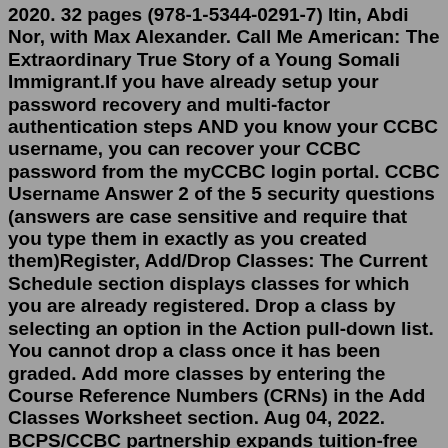2020. 32 pages (978-1-5344-0291-7) Itin, Abdi Nor, with Max Alexander. Call Me American: The Extraordinary True Story of a Young Somali Immigrant.If you have already setup your password recovery and multi-factor authentication steps AND you know your CCBC username, you can recover your CCBC password from the myCCBC login portal. CCBC Username Answer 2 of the 5 security questions (answers are case sensitive and require that you type them in exactly as you created them)Register, Add/Drop Classes: The Current Schedule section displays classes for which you are already registered. Drop a class by selecting an option in the Action pull-down list. You cannot drop a class once it has been graded. Add more classes by entering the Course Reference Numbers (CRNs) in the Add Classes Worksheet section. Aug 04, 2022. BCPS/CCBC partnership expands tuition-free opportunities for students. A new partnership between Baltimore County Public Schools and the Community College of Baltimore County is providing